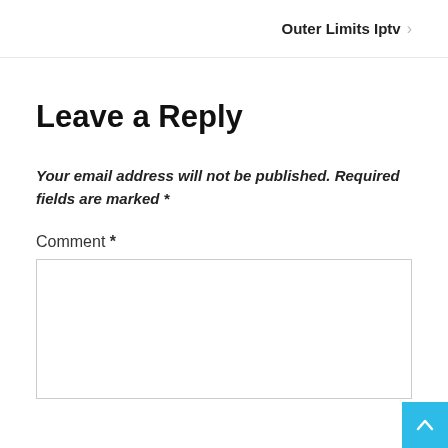Outer Limits Iptv
Leave a Reply
Your email address will not be published. Required fields are marked *
Comment *